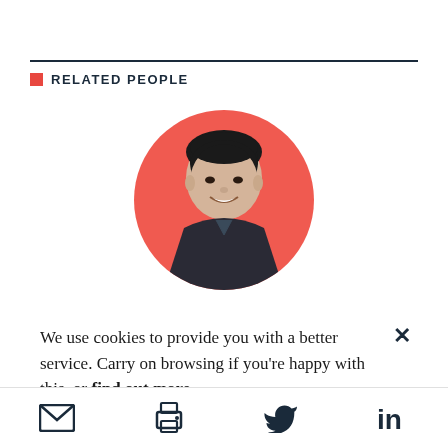RELATED PEOPLE
[Figure (photo): Headshot of an Asian man smiling, shown in a circular crop on a red/coral background circle]
We use cookies to provide you with a better service. Carry on browsing if you're happy with this, or find out more.
Email, Print, Twitter, LinkedIn icons